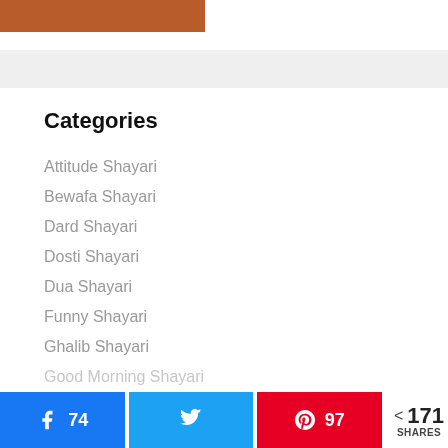[Figure (other): Brown/rust colored rectangle banner at top of page]
Categories
Attitude Shayari
Bewafa Shayari
Dard Shayari
Dosti Shayari
Dua Shayari
Funny Shayari
Ghalib Shayari
Good Morning Shayari
74 [Facebook share] [Twitter share] 97 [Pinterest share] < 171 SHARES